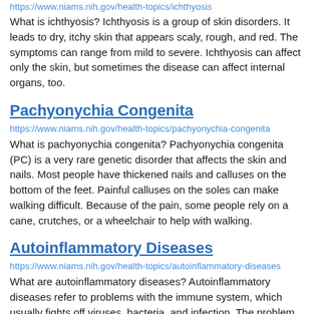https://www.niams.nih.gov/health-topics/ichthyosis
What is ichthyosis? Ichthyosis is a group of skin disorders. It leads to dry, itchy skin that appears scaly, rough, and red. The symptoms can range from mild to severe. Ichthyosis can affect only the skin, but sometimes the disease can affect internal organs, too.
Pachyonychia Congenita
https://www.niams.nih.gov/health-topics/pachyonychia-congenita
What is pachyonychia congenita? Pachyonychia congenita (PC) is a very rare genetic disorder that affects the skin and nails. Most people have thickened nails and calluses on the bottom of the feet. Painful calluses on the soles can make walking difficult. Because of the pain, some people rely on a cane, crutches, or a wheelchair to help with walking.
Autoinflammatory Diseases
https://www.niams.nih.gov/health-topics/autoinflammatory-diseases
What are autoinflammatory diseases? Autoinflammatory diseases refer to problems with the immune system, which usually fights off viruses, bacteria, and infection. The problem causes your immune cells to attack your body by mistake. This can cause swelling that produces fever, rash, joint swelling, or serious buildup of a blood protein in your organs.